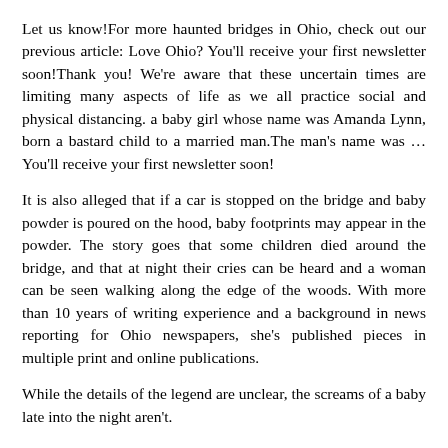Let us know!For more haunted bridges in Ohio, check out our previous article: Love Ohio? You'll receive your first newsletter soon!Thank you! We're aware that these uncertain times are limiting many aspects of life as we all practice social and physical distancing. a baby girl whose name was Amanda Lynn, born a bastard child to a married man.The man's name was … You'll receive your first newsletter soon!
It is also alleged that if a car is stopped on the bridge and baby powder is poured on the hood, baby footprints may appear in the powder. The story goes that some children died around the bridge, and that at night their cries can be heard and a woman can be seen walking along the edge of the woods. With more than 10 years of writing experience and a background in news reporting for Ohio newspapers, she's published pieces in multiple print and online publications.
While the details of the legend are unclear, the screams of a baby late into the night aren't.
Ok, so let's get right down to the haunted bridge locations! The local legends attributed to this particular bridge range